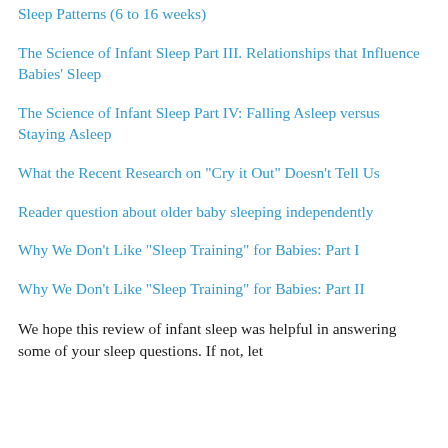Sleep Patterns (6 to 16 weeks)
The Science of Infant Sleep Part III. Relationships that Influence Babies' Sleep
The Science of Infant Sleep Part IV: Falling Asleep versus Staying Asleep
What the Recent Research on "Cry it Out" Doesn't Tell Us
Reader question about older baby sleeping independently
Why We Don't Like "Sleep Training" for Babies: Part I
Why We Don't Like "Sleep Training" for Babies: Part II
We hope this review of infant sleep was helpful in answering some of your sleep questions. If not, let